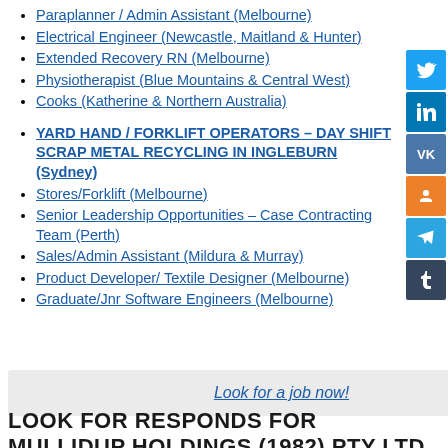Paraplanner / Admin Assistant (Melbourne)
Electrical Engineer (Newcastle, Maitland & Hunter)
Extended Recovery RN (Melbourne)
Physiotherapist (Blue Mountains & Central West)
Cooks (Katherine & Northern Australia)
YARD HAND / FORKLIFT OPERATORS – DAY SHIFT SCRAP METAL RECYCLING IN INGLEBURN (Sydney)
Stores/Forklift (Melbourne)
Senior Leadership Opportunities – Case Contracting Team (Perth)
Sales/Admin Assistant (Mildura & Murray)
Product Developer/ Textile Designer (Melbourne)
Graduate/Jnr Software Engineers (Melbourne)
Look for a job now!
LOOK FOR RESPONDS FOR MULLIDUP HOLDINGS (1982) PTY LTD IN SOCIAL